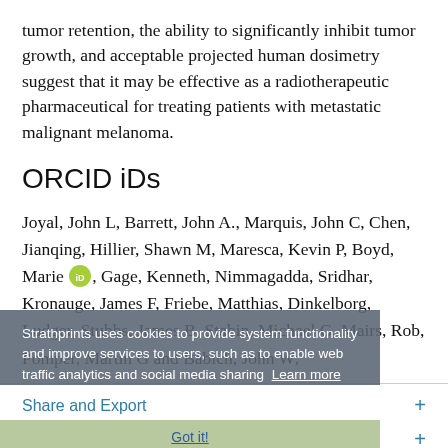tumor retention, the ability to significantly inhibit tumor growth, and acceptable projected human dosimetry suggest that it may be effective as a radiotherapeutic pharmaceutical for treating patients with metastatic malignant melanoma.
ORCID iDs
Joyal, John L, Barrett, John A., Marquis, John C, Chen, Jianqing, Hillier, Shawn M, Maresca, Kevin P, Boyd, Marie [ORCID], Gage, Kenneth, Nimmagadda, Sridhar, Kronauge, James F, Friebe, Matthias, Dinkelborg, Ludger, Stubbs, James B, Stabin, Michael G, Mairs, Rob, Pomper, Martin G and Babich, John W;
Strathprints uses cookies to provide system functionality and improve services to users, such as to enable web traffic analytics and social media sharing  Learn more
Share and Export
Citations and altmetrics